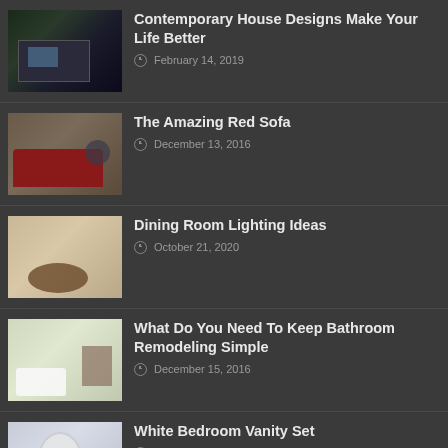Contemporary House Designs Make Your Life Better | February 14, 2019
The Amazing Red Sofa | December 13, 2016
Dining Room Lighting Ideas | October 21, 2020
What Do You Need To Keep Bathroom Remodeling Simple | December 15, 2016
White Bedroom Vanity Set | October 26, 2020
Large Decorative Mirrors For Living Room